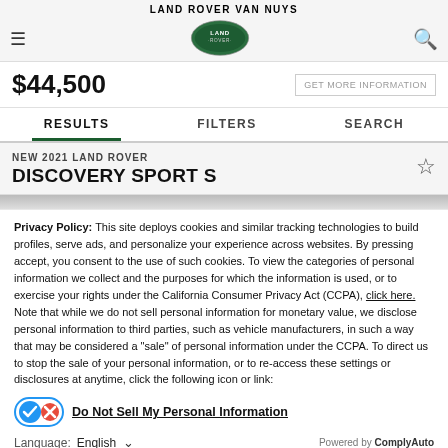LAND ROVER VAN NUYS
$44,500
RESULTS   FILTERS   SEARCH
NEW 2021 LAND ROVER
DISCOVERY SPORT S
Privacy Policy: This site deploys cookies and similar tracking technologies to build profiles, serve ads, and personalize your experience across websites. By pressing accept, you consent to the use of such cookies. To view the categories of personal information we collect and the purposes for which the information is used, or to exercise your rights under the California Consumer Privacy Act (CCPA), click here. Note that while we do not sell personal information for monetary value, we disclose personal information to third parties, such as vehicle manufacturers, in such a way that may be considered a "sale" of personal information under the CCPA. To direct us to stop the sale of your personal information, or to re-access these settings or disclosures at anytime, click the following icon or link:
Do Not Sell My Personal Information
Language:  English
Powered by ComplyAuto
ACCEPT AND CONTINUE →   California Privacy Disclosures